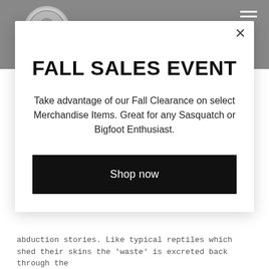[Figure (screenshot): Website screenshot showing grey header bar with circular logo on the left and hamburger menu icon on the right]
FALL SALES EVENT
Take advantage of our Fall Clearance on select Merchandise Items.  Great for any Sasquatch or Bigfoot Enthusiast.
Shop now
abduction stories.  Like typical reptiles which shed their skins the 'waste' is excreted back through the